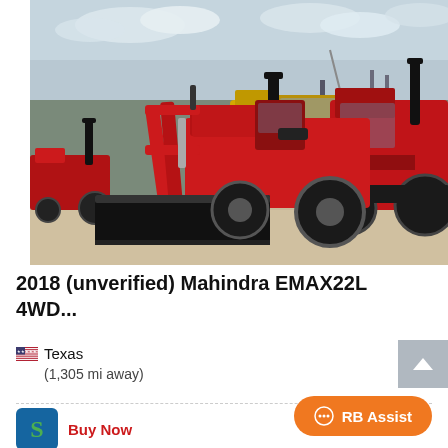[Figure (photo): Photograph of a 2018 Mahindra EMAX22L 4WD compact tractor with front loader bucket in red, surrounded by other tractors and heavy equipment at an outdoor equipment lot. A yellow wheel loader is visible in the background along with several other red tractors.]
2018 (unverified) Mahindra EMAX22L 4WD...
🇺🇸 Texas
(1,305 mi away)
Buy Now